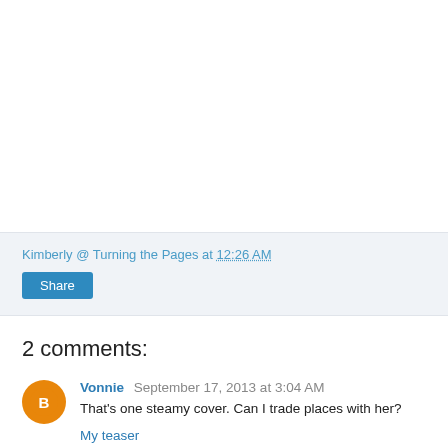Kimberly @ Turning the Pages at 12:26 AM
Share
2 comments:
Vonnie September 17, 2013 at 3:04 AM
That's one steamy cover. Can I trade places with her?
My teaser